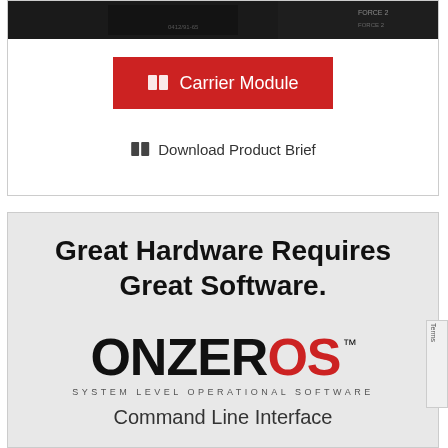[Figure (screenshot): Dark hardware product image bar showing circuit board or module top view]
Carrier Module
Download Product Brief
Great Hardware Requires Great Software.
[Figure (logo): ONZEROS logo - ONZER in black, OS in red, with TM mark and subtitle SYSTEM LEVEL OPERATIONAL SOFTWARE]
Command Line Interface